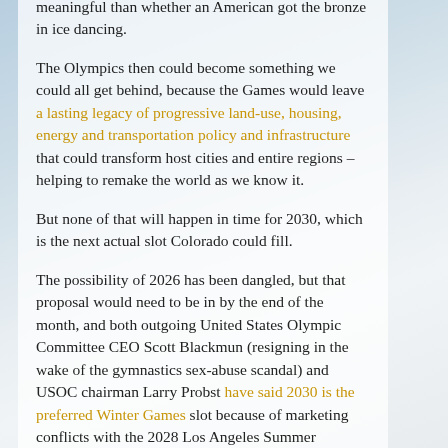meaningful than whether an American got the bronze in ice dancing.
The Olympics then could become something we could all get behind, because the Games would leave a lasting legacy of progressive land-use, housing, energy and transportation policy and infrastructure that could transform host cities and entire regions – helping to remake the world as we know it.
But none of that will happen in time for 2030, which is the next actual slot Colorado could fill.
The possibility of 2026 has been dangled, but that proposal would need to be in by the end of the month, and both outgoing United States Olympic Committee CEO Scott Blackmun (resigning in the wake of the gymnastics sex-abuse scandal) and USOC chairman Larry Probst have said 2030 is the preferred Winter Games slot because of marketing conflicts with the 2028 Los Angeles Summer Olympics.